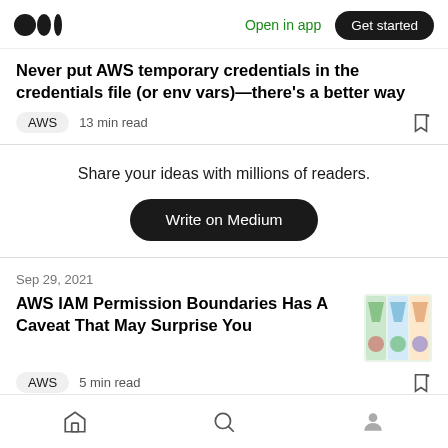Medium logo | Open in app | Get started
Never put AWS temporary credentials in the credentials file (or env vars)—there's a better way
AWS  13 min read
Share your ideas with millions of readers.
Write on Medium
Sep 29, 2021
AWS IAM Permission Boundaries Has A Caveat That May Surprise You
AWS  5 min read
Home | Search | Profile